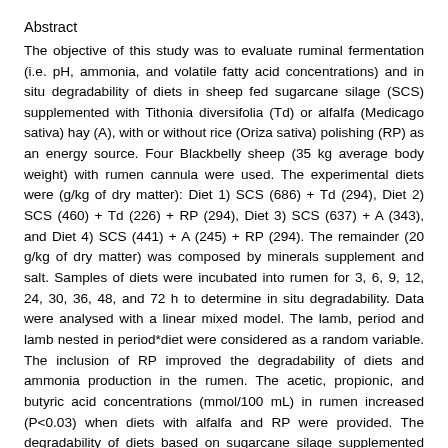Abstract
The objective of this study was to evaluate ruminal fermentation (i.e. pH, ammonia, and volatile fatty acid concentrations) and in situ degradability of diets in sheep fed sugarcane silage (SCS) supplemented with Tithonia diversifolia (Td) or alfalfa (Medicago sativa) hay (A), with or without rice (Oriza sativa) polishing (RP) as an energy source. Four Blackbelly sheep (35 kg average body weight) with rumen cannula were used. The experimental diets were (g/kg of dry matter): Diet 1) SCS (686) + Td (294), Diet 2) SCS (460) + Td (226) + RP (294), Diet 3) SCS (637) + A (343), and Diet 4) SCS (441) + A (245) + RP (294). The remainder (20 g/kg of dry matter) was composed by minerals supplement and salt. Samples of diets were incubated into rumen for 3, 6, 9, 12, 24, 30, 36, 48, and 72 h to determine in situ degradability. Data were analysed with a linear mixed model. The lamb, period and lamb nested in period*diet were considered as a random variable. The inclusion of RP improved the degradability of diets and ammonia production in the rumen. The acetic, propionic, and butyric acid concentrations (mmol/100 mL) in rumen increased (P<0.03) when diets with alfalfa and RP were provided. The degradability of diets based on sugarcane silage supplemented with either alfalfa or Tithonia diversifolia was improved (P<0.05) with the rice polishing